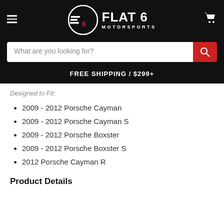[Figure (logo): Flat 6 Motorsports logo with circular emblem and text]
What are you looking for?
FREE SHIPPING / $299+
Designed to Fit:
2009 - 2012 Porsche Cayman
2009 - 2012 Porsche Cayman S
2009 - 2012 Porsche Boxster
2009 - 2012 Porsche Boxster S
2012 Porsche Cayman R
Product Details